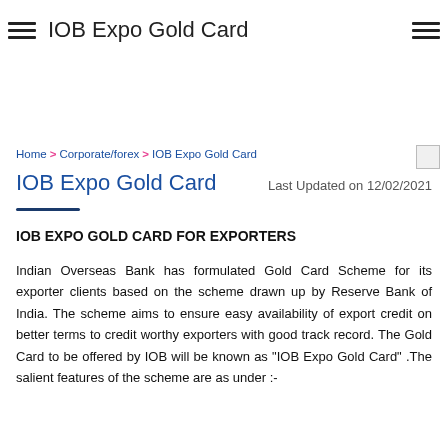IOB Expo Gold Card
Home > Corporate/forex > IOB Expo Gold Card
IOB Expo Gold Card    Last Updated on 12/02/2021
IOB EXPO GOLD CARD FOR EXPORTERS
Indian Overseas Bank has formulated Gold Card Scheme for its exporter clients based on the scheme drawn up by Reserve Bank of India. The scheme aims to ensure easy availability of export credit on better terms to credit worthy exporters with good track record. The Gold Card to be offered by IOB will be known as "IOB Expo Gold Card" .The salient features of the scheme are as under :-